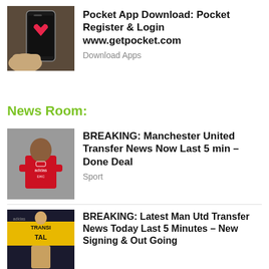[Figure (photo): Hand holding a smartphone with Pocket app logo on screen]
Pocket App Download: Pocket Register & Login www.getpocket.com
Download Apps
News Room:
[Figure (photo): Manchester United footballer in red jersey with arms crossed]
BREAKING: Manchester United Transfer News Now Last 5 min – Done Deal
Sport
[Figure (photo): Man in suit standing in front of TRANSFER banner]
BREAKING: Latest Man Utd Transfer News Today Last 5 Minutes – New Signing & Out Going